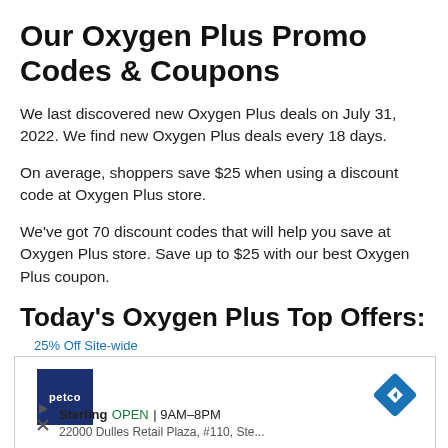Our Oxygen Plus Promo Codes & Coupons
We last discovered new Oxygen Plus deals on July 31, 2022. We find new Oxygen Plus deals every 18 days.
On average, shoppers save $25 when using a discount code at Oxygen Plus store.
We've got 70 discount codes that will help you save at Oxygen Plus store. Save up to $25 with our best Oxygen Plus coupon.
Today's Oxygen Plus Top Offers:
[Figure (screenshot): Advertisement overlay showing Petco store listing with Sterling location, OPEN 9AM-8PM, 22000 Dulles Retail Plaza #110]